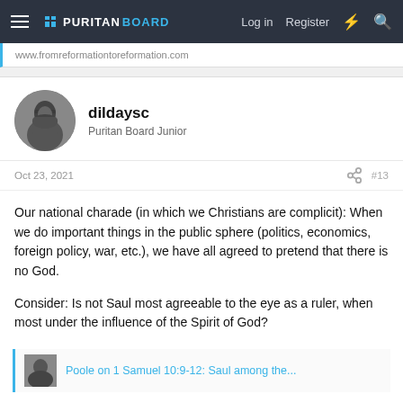PURITANBOARD — Log in  Register
www.fromreformationtoreformation.com
dildaysc
Puritan Board Junior
Oct 23, 2021  #13
Our national charade (in which we Christians are complicit): When we do important things in the public sphere (politics, economics, foreign policy, war, etc.), we have all agreed to pretend that there is no God.

Consider: Is not Saul most agreeable to the eye as a ruler, when most under the influence of the Spirit of God?
Poole on 1 Samuel 10:9-12: Saul among the...